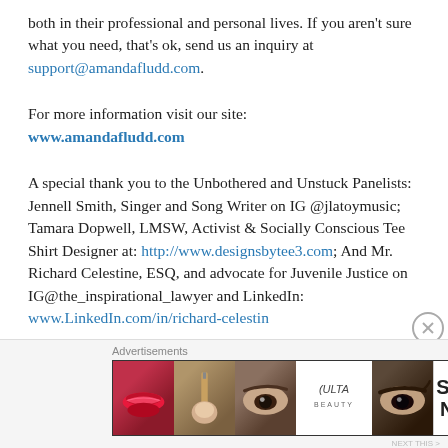both in their professional and personal lives. If you aren't sure what you need, that's ok, send us an inquiry at support@amandafludd.com.
For more information visit our site:
www.amandafludd.com
A special thank you to the Unbothered and Unstuck Panelists: Jennell Smith, Singer and Song Writer on IG @jlatoymusic; Tamara Dopwell, LMSW, Activist & Socially Conscious Tee Shirt Designer at: http://www.designsbytee3.com; And Mr. Richard Celestine, ESQ, and advocate for Juvenile Justice on IG@the_inspirational_lawyer and LinkedIn: www.LinkedIn.com/in/richard-celestin
Advertisements
Advertisements
[Figure (photo): ULTA Beauty advertisement banner with makeup imagery — lips, brush, eye, ULTA logo, eye, and SHOP NOW text]